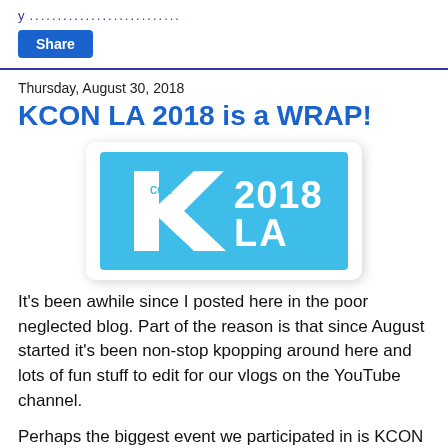Share
Thursday, August 30, 2018
KCON LA 2018 is a WRAP!
[Figure (logo): KCON 2018 LA logo on a sky-blue rectangular background with white stylized K and CON 2018 LA text]
It's been awhile since I posted here in the poor neglected blog. Part of the reason is that since August started it's been non-stop kpopping around here and lots of fun stuff to edit for our vlogs on the YouTube channel.
Perhaps the biggest event we participated in is KCON held at the LA Convention Center (and concerts at the Staples Center next door). This is just like Comic Con for those of you familiar with that, three days of panels and stages and